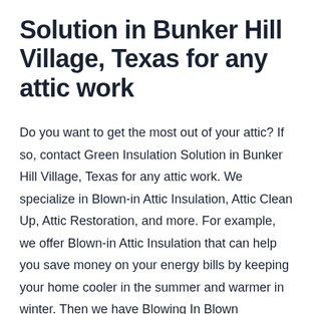Solution in Bunker Hill Village, Texas for any attic work
Do you want to get the most out of your attic? If so, contact Green Insulation Solution in Bunker Hill Village, Texas for any attic work. We specialize in Blown-in Attic Insulation, Attic Clean Up, Attic Restoration, and more. For example, we offer Blown-in Attic Insulation that can help you save money on your energy bills by keeping your home cooler in the summer and warmer in winter. Then we have Blowing In Blown Fiberglass insulation which is durable and will reduce noise transfer between homes when